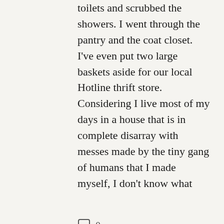toilets and scrubbed the showers. I went through the pantry and the coat closet. I've even put two large baskets aside for our local Hotline thrift store. Considering I live most of my days in a house that is in complete disarray with messes made by the tiny gang of humans that I made myself, I don't know what
0
[Figure (photo): A hand holding a small clear glass jar with a ring on one finger, against a white marble surface with green plant leaves visible in the upper right corner.]